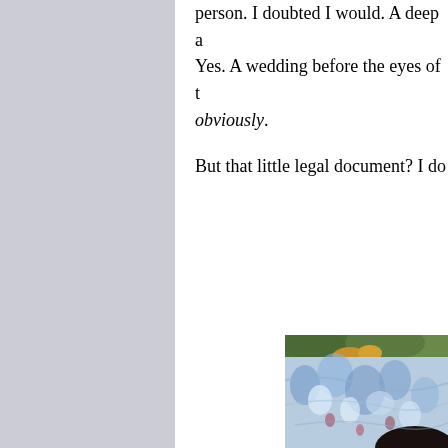person. I doubted I would. A deep a Yes. A wedding before the eyes of obviously.
But that little legal document? I do
[Figure (photo): Close-up photo of a person wearing a blue and white floral/paisley patterned garment, with green foliage visible in the background. Only part of the face and shoulder/torso area is visible, cropped at the edge of the page.]